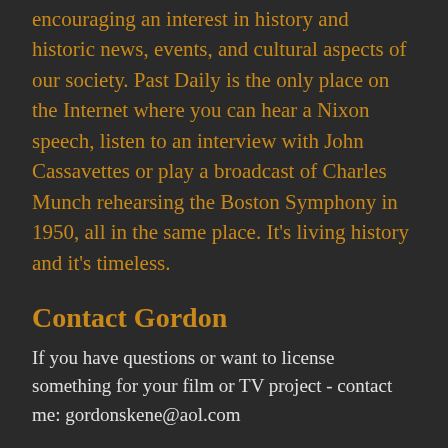encouraging an interest in history and historic news, events, and cultural aspects of our society. Past Daily is the only place on the Internet where you can hear a Nixon speech, listen to an interview with John Cassavettes or play a broadcast of Charles Munch rehearsing the Boston Symphony in 1950, all in the same place. It's living history and it's timeless.
Contact Gordon
If you have questions or want to license something for your film or TV project - contact me: gordonskene@aol.com
Become A Subscriber With PayPal.
[Figure (other): Yellow PayPal Subscribe button (rounded pill shape) with payment card icons below (Visa, Mastercard, Maestro, Amex, Discover)]